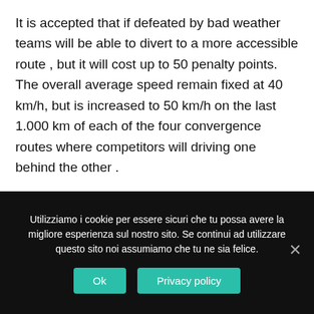It is accepted that if defeated by bad weather teams will be able to divert to a more accessible route , but it will cost up to 50 penalty points. The overall average speed remain fixed at 40 km/h, but is increased to 50 km/h on the last 1.000 km of each of the four convergence routes where competitors will driving one behind the other .
Winners of the 13th Edition. Overall Ranking all categories: 1st Louis Gas , copilote Jean Trèvoux driving a Hotchkiss AM80 S six cylinders .Starts from Athenes 3786 km
Utilizziamo i cookie per essere sicuri che tu possa avere la migliore esperienza sul nostro sito. Se continui ad utilizzare questo sito noi assumiamo che tu ne sia felice.